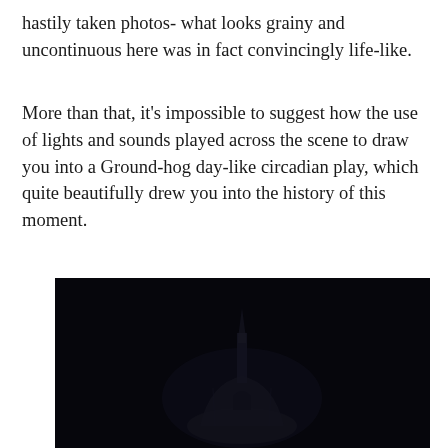hastily taken photos- what looks grainy and uncontinuous here was in fact convincingly life-like.
More than that, it's impossible to suggest how the use of lights and sounds played across the scene to draw you into a Ground-hog day-like circadian play, which quite beautifully drew you into the history of this moment.
[Figure (photo): A very dark, nearly black photograph showing the silhouette of a church spire or steeple against a dark background, with very faint architectural details visible.]